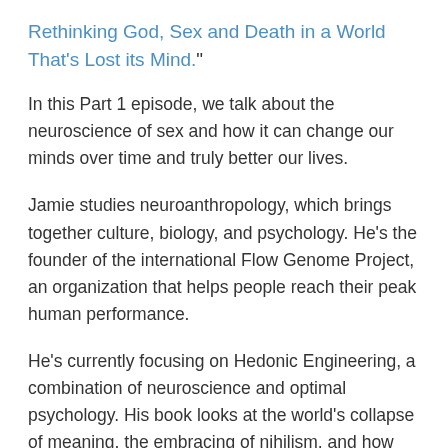Rethinking God, Sex and Death in a World That's Lost its Mind."
In this Part 1 episode, we talk about the neuroscience of sex and how it can change our minds over time and truly better our lives.
Jamie studies neuroanthropology, which brings together culture, biology, and psychology. He’s the founder of the international Flow Genome Project, an organization that helps people reach their peak human performance.
He’s currently focusing on Hedonic Engineering, a combination of neuroscience and optimal psychology. His book looks at the world’s collapse of meaning, the embracing of nihilism, and how you can shift your stories to tackle the world by connecting to others and